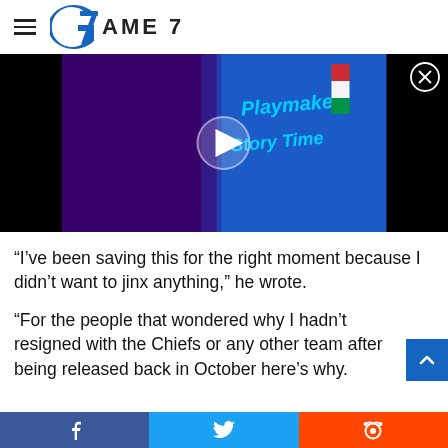GAME 7
[Figure (screenshot): Video thumbnail showing a basketball player with colorful 'Playmaker Story Time' text overlay and a play button in the center. Black bars on sides.]
“I’ve been saving this for the right moment because I didn’t want to jinx anything,” he wrote.
“For the people that wondered why I hadn’t resigned with the Chiefs or any other team after being released back in October here’s why.